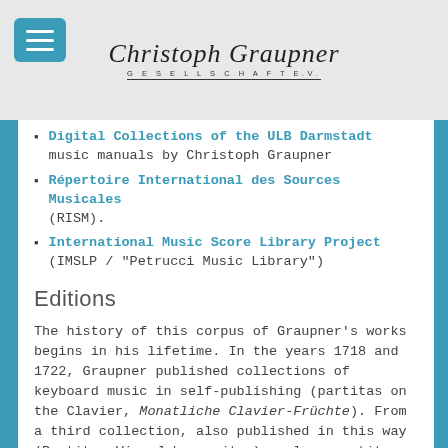Christoph Graupner Gesellschaft e.V.
Digital Collections of the ULB Darmstadt music manuals by Christoph Graupner
Répertoire International des Sources Musicales (RISM).
International Music Score Library Project (IMSLP / "Petrucci Music Library")
Editions
The history of this corpus of Graupner's works begins in his lifetime. In the years 1718 and 1722, Graupner published collections of keyboard music in self-publishing (partitas on the Clavier, Monatliche Clavier-Früchte). From a third collection, also published in this way (Partitas Vier Jahreszeiten), only a partita (Vom Winter) in